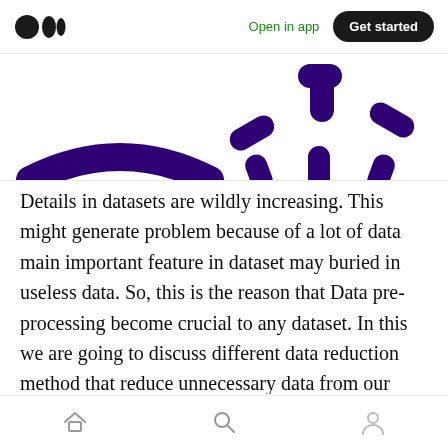Open in app  Get started
[Figure (illustration): Partial view of two Medium-style face/logo illustrations with dark purple shapes on white background — left shows a smile arc, right shows a sun/gear shape with radial elements]
Details in datasets are wildly increasing. This might generate problem because of a lot of data main important feature in dataset may buried in useless data. So, this is the reason that Data pre-processing become crucial to any dataset. In this we are going to discuss different data reduction method that reduce unnecessary data from our dataset and make it more efficient for our model to run these datasets.
Home  Search  Profile